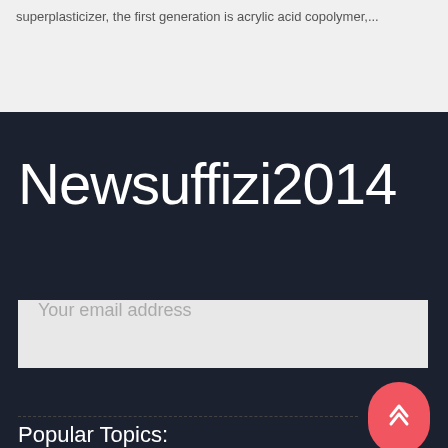superplasticizer, the first generation is acrylic acid copolymer,...
Newsuffizi2014
Your email address
Popular Topics: